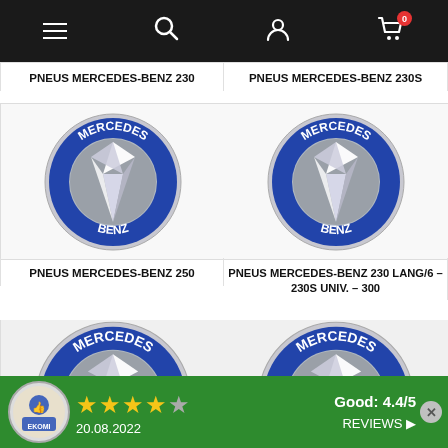Navigation bar with menu, search, account, and cart icons (0 items)
PNEUS MERCEDES-BENZ 230
PNEUS MERCEDES-BENZ 230S
[Figure (photo): Mercedes-Benz round badge/logo with blue ring, MERCEDES text on top, BENZ on bottom, silver three-pointed star in center]
[Figure (photo): Mercedes-Benz round badge/logo with blue ring, MERCEDES text on top, BENZ on bottom, silver three-pointed star in center]
PNEUS MERCEDES-BENZ 250
PNEUS MERCEDES-BENZ 230 LANG/6 – 230S UNIV. – 300
[Figure (photo): Partial Mercedes-Benz round badge/logo with blue ring, MERCEDES text visible]
[Figure (photo): Partial Mercedes-Benz round badge/logo with blue ring, MERCEDES text visible]
Good: 4.4/5
20.08.2022
REVIEWS ▶